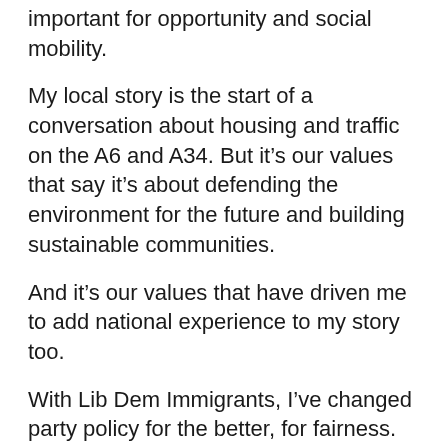important for opportunity and social mobility.
My local story is the start of a conversation about housing and traffic on the A6 and A34. But it’s our values that say it’s about defending the environment for the future and building sustainable communities.
And it’s our values that have driven me to add national experience to my story too.
With Lib Dem Immigrants, I’ve changed party policy for the better, for fairness.
During the coalition, I brought together a group that changed Nick Clegg’s mind on the Snooper’s Charter, for freedom.
And through LGBT+ Liberal Democrats we got the biggest win of our time in government, for me anyway, the right to marry my husband four years ago this week at Stockport Town Hall and make